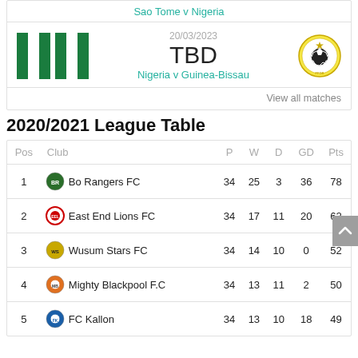Sao Tome v Nigeria
[Figure (infographic): Match card: Nigeria flag (green-white-green) vs Guinea-Bissau FFGB logo badge. Date: 20/03/2023. Score: TBD. Match: Nigeria v Guinea-Bissau.]
Nigeria v Guinea-Bissau
View all matches
2020/2021 League Table
| Pos | Club | P | W | D | GD | Pts |
| --- | --- | --- | --- | --- | --- | --- |
| 1 | Bo Rangers FC | 34 | 25 | 3 | 36 | 78 |
| 2 | East End Lions FC | 34 | 17 | 11 | 20 | 62 |
| 3 | Wusum Stars FC | 34 | 14 | 10 | 0 | 52 |
| 4 | Mighty Blackpool F.C | 34 | 13 | 11 | 2 | 50 |
| 5 | FC Kallon | 34 | 13 | 10 | 18 | 49 |